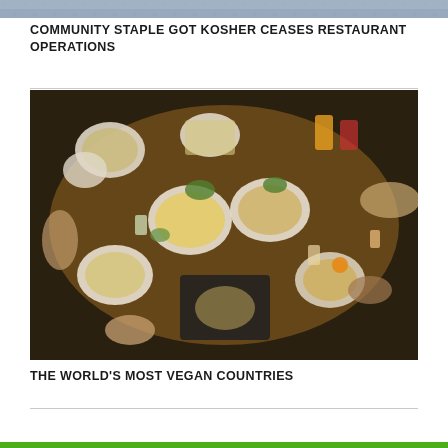[Figure (photo): Partial view of a decorative pattern or tiled surface at the top of the page]
COMMUNITY STAPLE GOT KOSHER CEASES RESTAURANT OPERATIONS
[Figure (photo): Overhead aerial view of a round wooden dining table with multiple plates of food, drinks, and people's hands eating together at a restaurant]
THE WORLD'S MOST VEGAN COUNTRIES